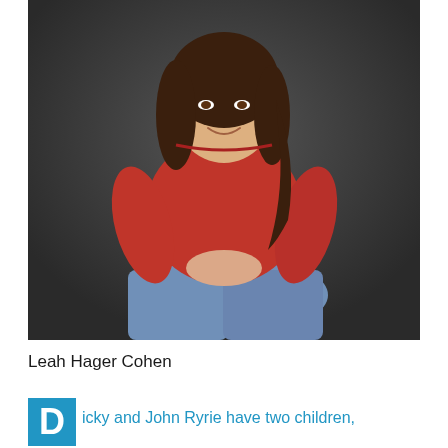[Figure (photo): Author photo of Leah Hager Cohen, a woman with long dark hair sitting on a wooden chair/stool, wearing a red long-sleeve top and blue jeans, smiling, against a dark gray background.]
Leah Hager Cohen
icky and John Ryrie have two children,